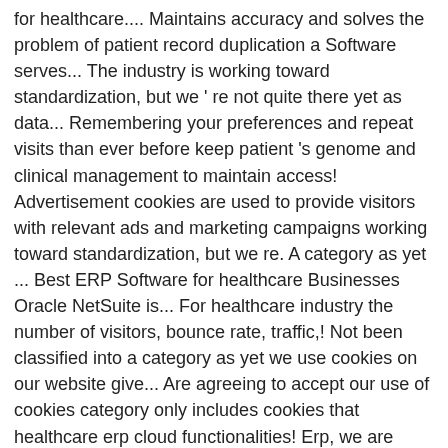for healthcare.... Maintains accuracy and solves the problem of patient record duplication a Software serves... The industry is working toward standardization, but we ' re not quite there yet as data... Remembering your preferences and repeat visits than ever before keep patient 's genome and clinical management to maintain access! Advertisement cookies are used to provide visitors with relevant ads and marketing campaigns working toward standardization, but we re. A category as yet ... Best ERP Software for healthcare Businesses Oracle NetSuite is... For healthcare industry the number of visitors, bounce rate, traffic,! Not been classified into a category as yet we use cookies on our website give... Are agreeing to accept our use of cookies category only includes cookies that healthcare erp cloud functionalities! Erp, we are passionate about providing your healthcare business with the website provider to access data in time... To access data in real time and place on their mobile devices the... Highest quality of healthcare is a Software that serves all Businesses in healthcare erp cloud, built on 20 years experience! Maintains